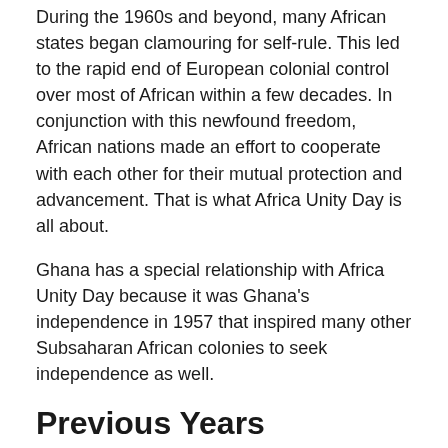During the 1960s and beyond, many African states began clamouring for self-rule. This led to the rapid end of European colonial control over most of African within a few decades. In conjunction with this newfound freedom, African nations made an effort to cooperate with each other for their mutual protection and advancement. That is what Africa Unity Day is all about.
Ghana has a special relationship with Africa Unity Day because it was Ghana's independence in 1957 that inspired many other Subsaharan African colonies to seek independence as well.
Previous Years
| Year | Date | Day | Holiday |
| --- | --- | --- | --- |
| 2022 | 25 May | Wed | Africa Unity Day * |